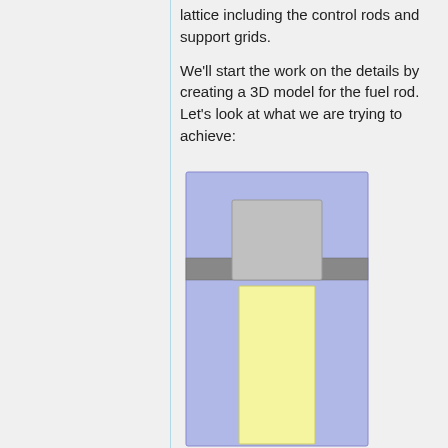lattice including the control rods and support grids.
We'll start the work on the details by creating a 3D model for the fuel rod. Let's look at what we are trying to achieve:
[Figure (engineering-diagram): Cross-sectional diagram of a nuclear fuel rod assembly showing a blue outer casing/moderator region, a gray support grid band across the middle, and a gray upper plug region topped with a yellow fuel pellet column below.]